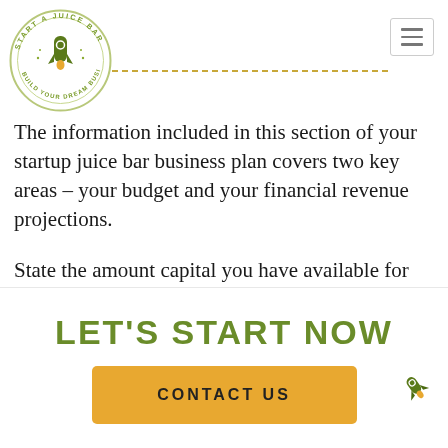[Figure (logo): Start A Juice Bar circular logo with rocket in the center and text around the border reading 'START A JUICE BAR' and 'BUILD YOUR DREAM BUSINESS']
[Figure (other): Hamburger menu icon (three horizontal lines) in a square border, top right corner]
The information included in this section of your startup juice bar business plan covers two key areas – your budget and your financial revenue projections.
State the amount capital you have available for the startup, including any funding requests (how much you are looking to raise
LET'S START NOW
CONTACT US